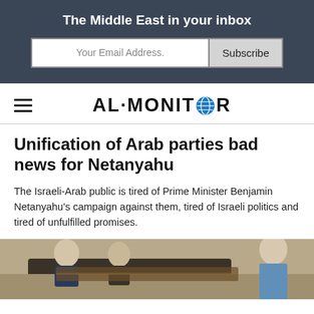The Middle East in your inbox
Your Email Address.    Subscribe
AL-MONITOR
Unification of Arab parties bad news for Netanyahu
The Israeli-Arab public is tired of Prime Minister Benjamin Netanyahu's campaign against them, tired of Israeli politics and tired of unfulfilled promises.
[Figure (photo): Photo of people in what appears to be a legislative chamber setting, showing figures in suits and casual clothing.]